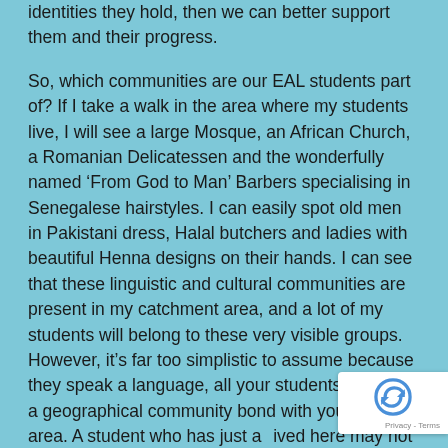identities they hold, then we can better support them and their progress.
So, which communities are our EAL students part of? If I take a walk in the area where my students live, I will see a large Mosque, an African Church, a Romanian Delicatessen and the wonderfully named ‘From God to Man’ Barbers specialising in Senegalese hairstyles. I can easily spot old men in Pakistani dress, Halal butchers and ladies with beautiful Henna designs on their hands. I can see that these linguistic and cultural communities are present in my catchment area, and a lot of my students will belong to these very visible groups. However, it’s far too simplistic to assume because they speak a language, all your students will have a geographical community bond with your local area. A student who has just arrived here may not know about the local community centre or even want to. These bonds may form later, but we